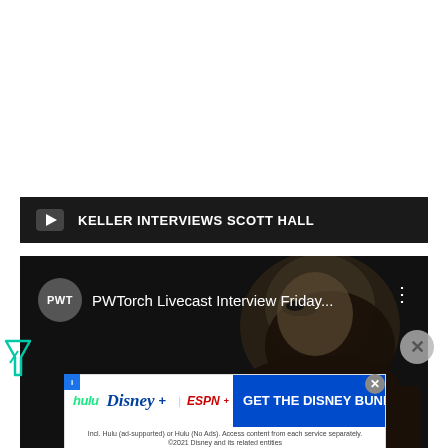KELLER INTERVIEWS SCOTT HALL
[Figure (screenshot): YouTube video player showing PWTorch Livecast Interview Friday... with a close-up face image in background and play button overlay, plus a Disney Bundle advertisement banner below.]